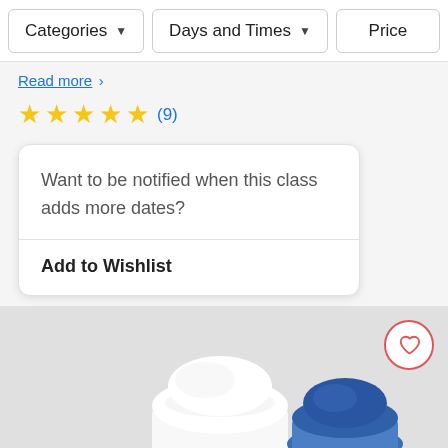Categories  Days and Times  Price
Read more
★★★★★ (9)
Want to be notified when this class adds more dates?
Add to Wishlist
[Figure (photo): Two people wearing chef hats — one white, one blue — viewed from above, with a pink garment visible. Gray background.]